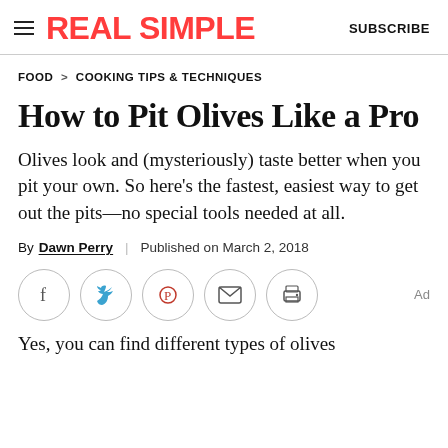REAL SIMPLE | SUBSCRIBE
FOOD > COOKING TIPS & TECHNIQUES
How to Pit Olives Like a Pro
Olives look and (mysteriously) taste better when you pit your own. So here's the fastest, easiest way to get out the pits—no special tools needed at all.
By Dawn Perry | Published on March 2, 2018
[Figure (other): Social sharing buttons: Facebook, Twitter, Pinterest, Email, Print. Ad label on right.]
Yes, you can find different types of olives